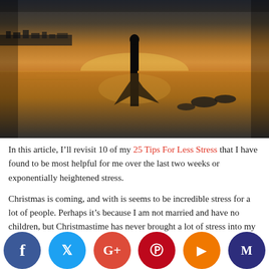[Figure (photo): Silhouette of a person standing on a wet beach at sunset, with their reflection visible in the water below. The sky is golden orange and the scene is dramatic and contemplative.]
In this article, I’ll revisit 10 of my  25 Tips For Less Stress that I have found to be most helpful for me over the last two weeks or exponentially heightened stress.
Christmas is coming, and with is seems to be incredible stress for a lot of people. Perhaps it’s because I am not married and have no children, but Christmastime has never brought a lot of stress into my